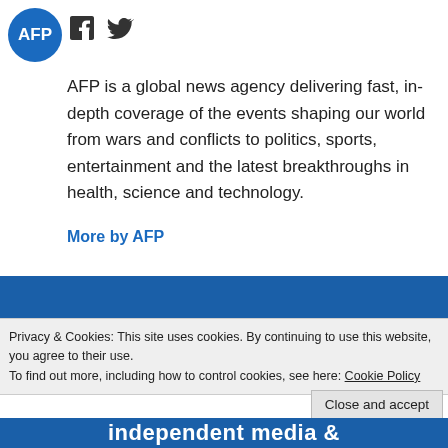[Figure (logo): AFP logo - blue circle with AFP text in white]
[Figure (illustration): Facebook and Twitter social media icons]
AFP is a global news agency delivering fast, in-depth coverage of the events shaping our world from wars and conflicts to politics, sports, entertainment and the latest breakthroughs in health, science and technology.
More by AFP
[Figure (screenshot): Blue banner section with dark horizontal line]
Privacy & Cookies: This site uses cookies. By continuing to use this website, you agree to their use.
To find out more, including how to control cookies, see here: Cookie Policy
Close and accept
independent media &